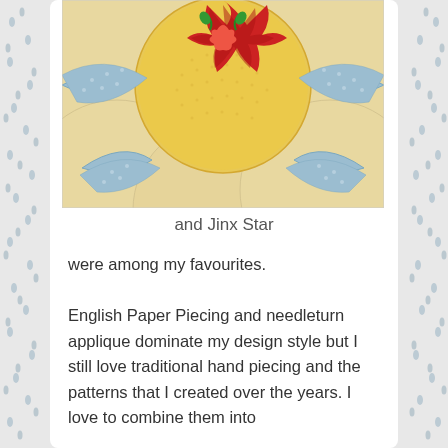[Figure (photo): A quilted fabric block featuring a Jinx Star pattern with blue curved star points, yellow background fabric, and red floral applique at the center top.]
and Jinx Star
were among my favourites.
English Paper Piecing and needleturn applique dominate my design style but I still love traditional hand piecing and the patterns that I created over the years. I love to combine them into